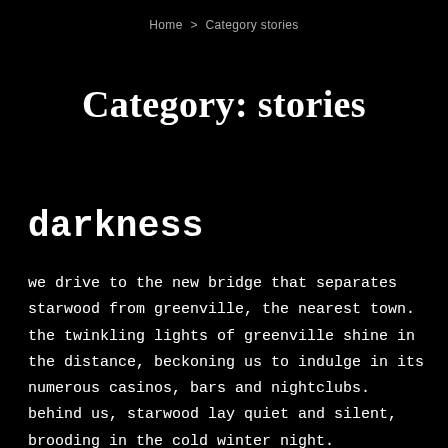Home > Category stories
Category: stories
darkness
we drive to the new bridge that separates starwood from greenville, the nearest town. the twinkling lights of greenville shine in the distance, beckoning us to indulge in its numerous casinos, bars and nightclubs. behind us, starwood lay quiet and silent, brooding in the cold winter night.